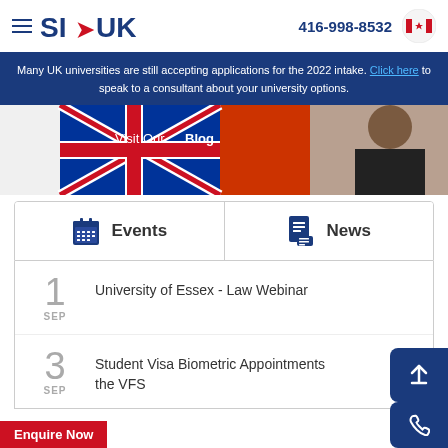SI-UK | 416-998-8532
Many UK universities are still accepting applications for the 2022 intake. Click here to speak to a consultant about your university options.
[Figure (photo): Blog promotional banner with Union Jack flag and person, text 'Visit Our Blog']
Events | News
1 SEP — University of Essex - Law Webinar
3 SEP — Student Visa Biometric Appointments the VFS